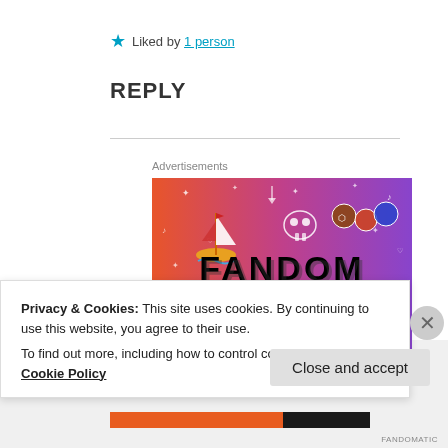★ Liked by 1 person
REPLY
Advertisements
[Figure (illustration): Fandom On advertisement banner with colorful gradient background (orange to purple), illustrated icons (sailboat, skull, dice), and bold text reading FANDOM ON]
Privacy & Cookies: This site uses cookies. By continuing to use this website, you agree to their use.
To find out more, including how to control cookies, see here: Cookie Policy
Close and accept